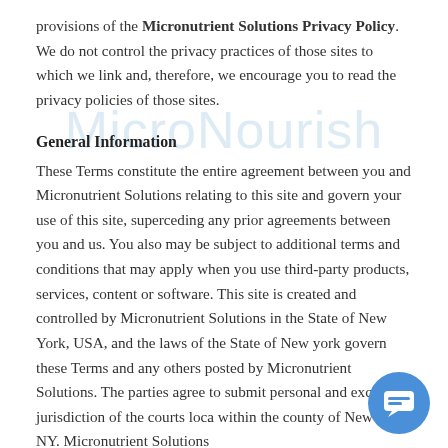provisions of the Micronutrient Solutions Privacy Policy. We do not control the privacy practices of those sites to which we link and, therefore, we encourage you to read the privacy policies of those sites.
General Information
These Terms constitute the entire agreement between you and Micronutrient Solutions relating to this site and govern your use of this site, superceding any prior agreements between you and us. You also may be subject to additional terms and conditions that may apply when you use third-party products, services, content or software. This site is created and controlled by Micronutrient Solutions in the State of New York, USA, and the laws of the State of New york govern these Terms and any others posted by Micronutrient Solutions. The parties agree to submit personal and exclusive jurisdiction of the courts loca within the county of New York, NY. Micronutrient Solutions